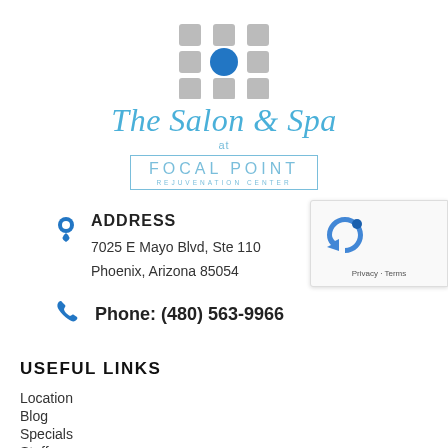[Figure (logo): The Salon & Spa at Focal Point Rejuvenation Center logo with a grid of grey squares and one blue circle in the center, followed by stylized script text and a boxed 'FOCAL POINT REJUVENATION CENTER' subtitle]
ADDRESS
7025 E Mayo Blvd, Ste 110
Phoenix, Arizona 85054
Phone: (480) 563-9966
USEFUL LINKS
Location
Blog
Specials
Staff